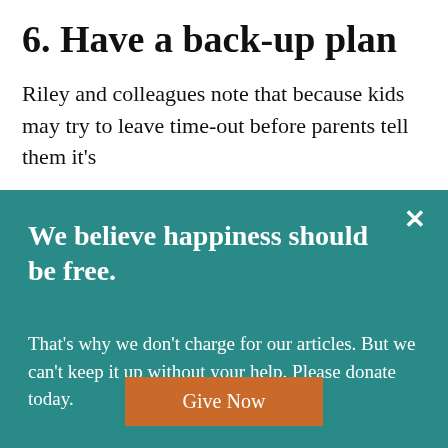6. Have a back-up plan
Riley and colleagues note that because kids may try to leave time-out before parents tell them it's
We believe happiness should be free.
That's why we don't charge for our articles. But we can't keep it up without your help. Please donate today.
Give Now